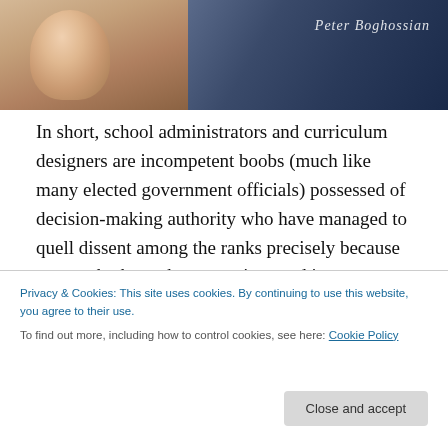[Figure (photo): Header photo showing a person (Peter Boghossian) with a signature watermark in cursive script in the top-right corner. Left side shows a person in lighter tones, right side has darker blue tones.]
In short, school administrators and curriculum designers are incompetent boobs (much like many elected government officials) possessed of decision-making authority who have managed to quell dissent among the ranks precisely because many who know better are invested in careers and pension programs that would be sacrificed in order to call bullshit on insane things now being forced on everyone within those institutions. Those
Privacy & Cookies: This site uses cookies. By continuing to use this website, you agree to their use.
To find out more, including how to control cookies, see here: Cookie Policy
Close and accept